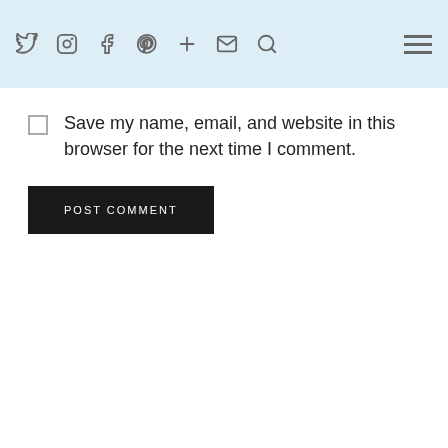Social media icons and navigation menu
Save my name, email, and website in this browser for the next time I comment.
POST COMMENT